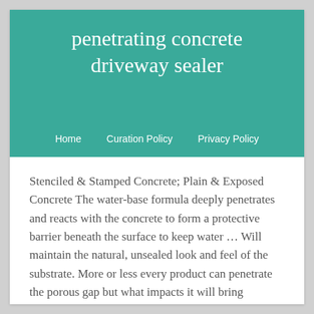penetrating concrete driveway sealer
Home  Curation Policy  Privacy Policy
Stenciled & Stamped Concrete; Plain & Exposed Concrete The water-base formula deeply penetrates and reacts with the concrete to form a protective barrier beneath the surface to keep water … Will maintain the natural, unsealed look and feel of the substrate. More or less every product can penetrate the porous gap but what impacts it will bring